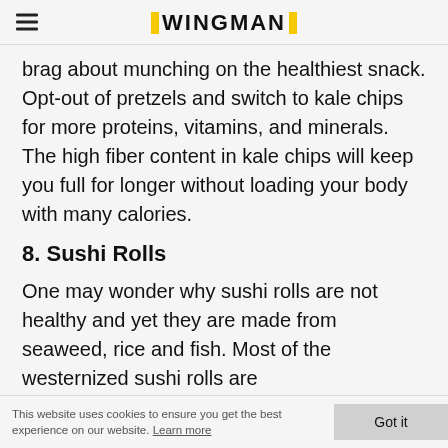WINGMAN
brag about munching on the healthiest snack. Opt-out of pretzels and switch to kale chips for more proteins, vitamins, and minerals. The high fiber content in kale chips will keep you full for longer without loading your body with many calories.
8. Sushi Rolls
One may wonder why sushi rolls are not healthy and yet they are made from seaweed, rice and fish. Most of the westernized sushi rolls are
This website uses cookies to ensure you get the best experience on our website. Learn more  Got it